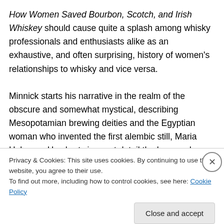How Women Saved Bourbon, Scotch, and Irish Whiskey should cause quite a splash among whisky professionals and enthusiasts alike as an exhaustive, and often surprising, history of women's relationships to whisky and vice versa.

Minnick starts his narrative in the realm of the obscure and somewhat mystical, describing Mesopotamian brewing deities and the Egyptian woman who invented the first alembic still, Maria Hebraea. He charts in great detail the laws and customs that surrounded brewing and distilling,
Privacy & Cookies: This site uses cookies. By continuing to use this website, you agree to their use.
To find out more, including how to control cookies, see here: Cookie Policy